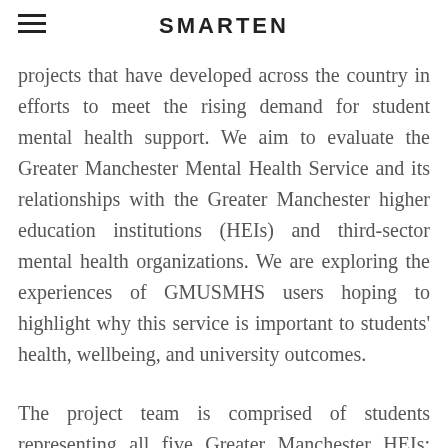SMARTEN
projects that have developed across the country in efforts to meet the rising demand for student mental health support. We aim to evaluate the Greater Manchester Mental Health Service and its relationships with the Greater Manchester higher education institutions (HEIs) and third-sector mental health organizations. We are exploring the experiences of GMUSMHS users hoping to highlight why this service is important to students' health, wellbeing, and university outcomes.
The project team is comprised of students representing all five Greater Manchester HEIs: University of Manchester, University of Salford, University of Bolton, the Royal Northern College